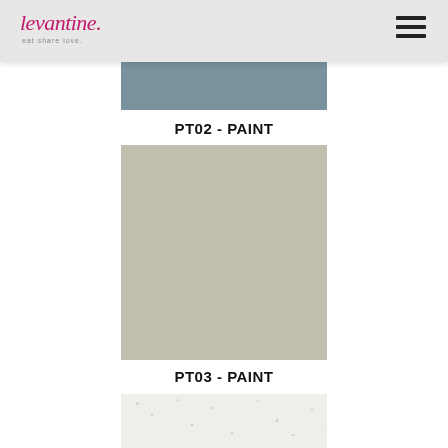levantine. eat share love.
[Figure (photo): Top portion of a slate blue/grey paint swatch (PT02 cropped top)]
PT02 - PAINT
[Figure (photo): Warm greige/taupe solid paint color swatch for PT02]
PT03 - PAINT
[Figure (photo): Partial view of a terrazzo or speckled white paint swatch (PT03/PT04 cropped bottom)]